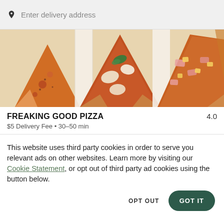Enter delivery address
[Figure (photo): Overhead photo of multiple pizza slices showing various toppings including herbs, tomato sauce, mozzarella, ham, and pineapple on a white surface.]
FREAKING GOOD PIZZA
4.0
$5 Delivery Fee • 30–50 min
This website uses third party cookies in order to serve you relevant ads on other websites. Learn more by visiting our Cookie Statement, or opt out of third party ad cookies using the button below.
OPT OUT
GOT IT